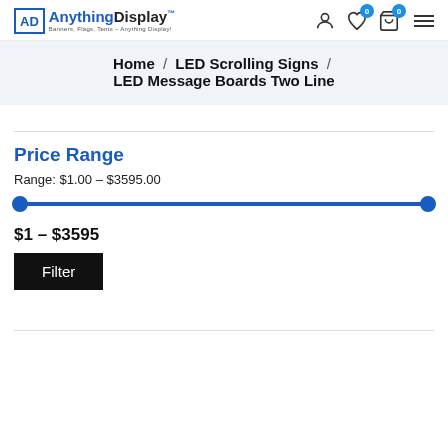AnythingDisplay – Banners, Flags, Tents – Anything Display!
Home / LED Scrolling Signs / LED Message Boards Two Line
Price Range
Range: $1.00 – $3595.00
[Figure (other): Price range slider from $1 to $3595 with both handles at endpoints]
$1 – $3595
Filter